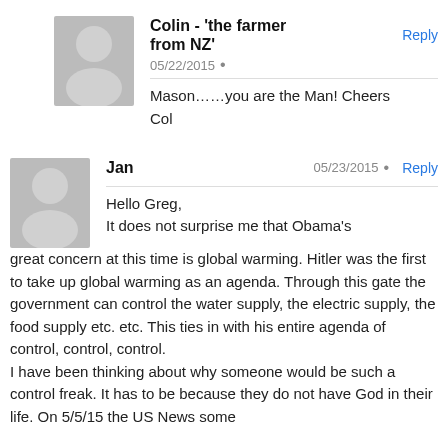[Figure (illustration): Gray avatar silhouette icon for Colin]
Colin - 'the farmer from NZ'
Reply
05/22/2015 •
Mason……you are the Man! Cheers Col
[Figure (illustration): Gray avatar silhouette icon for Jan]
Jan
05/23/2015 •
Reply
Hello Greg,
It does not surprise me that Obama's great concern at this time is global warming. Hitler was the first to take up global warming as an agenda. Through this gate the government can control the water supply, the electric supply, the food supply etc. etc. This ties in with his entire agenda of control, control, control.
I have been thinking about why someone would be such a control freak. It has to be because they do not have God in their life. On 5/5/15 the US News some